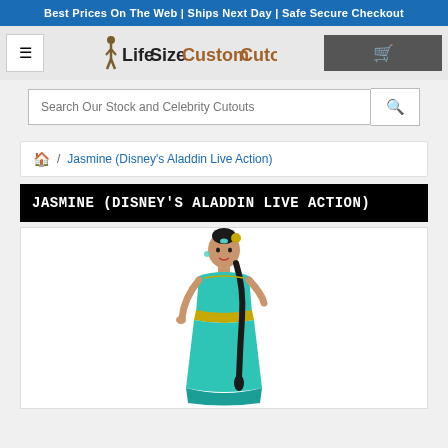Best Prices On The Web | Ships Next Day | Safe Secure Checkout
[Figure (logo): LifeSizeCustomCutouts logo with silhouette figure and text]
Search Our Stock and Celebrity Cutouts
/ Jasmine (Disney's Aladdin Live Action)
JASMINE (DISNEY'S ALADDIN LIVE ACTION)
[Figure (photo): Life-size cardboard cutout of Jasmine from Disney's Aladdin Live Action, wearing a teal outfit with gold accents, dark hair in a braid, posing standing]